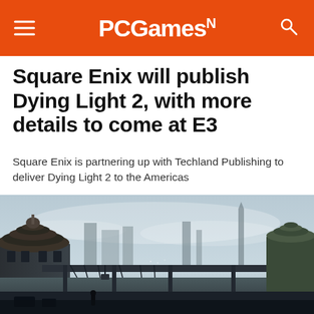PCGamesN
Square Enix will publish Dying Light 2, with more details to come at E3
Square Enix is partnering up with Techland Publishing to deliver Dying Light 2 to the Americas
[Figure (photo): Game screenshot showing a post-apocalyptic cityscape with a large domed pagoda-style building on the left, a suspended bridge/walkway in the middle ground, and ruined structures in a misty background under a cloudy sky.]